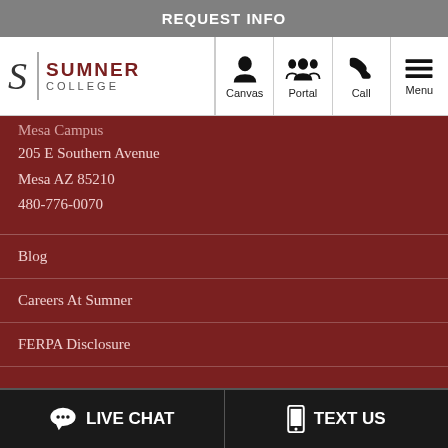REQUEST INFO
[Figure (logo): Sumner College logo with stylized S and text SUMNER COLLEGE]
Canvas
Portal
Call
Menu
Mesa Campus
205 E Southern Avenue
Mesa AZ 85210
480-776-0070
Blog
Careers At Sumner
FERPA Disclosure
LIVE CHAT
TEXT US